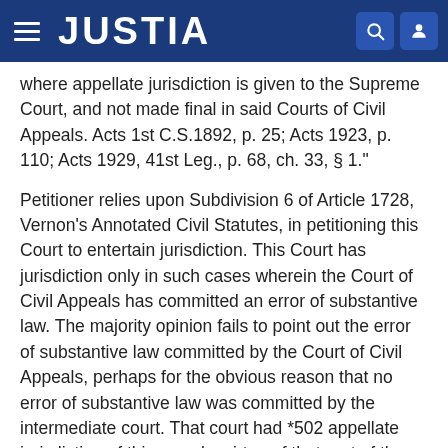JUSTIA
where appellate jurisdiction is given to the Supreme Court, and not made final in said Courts of Civil Appeals. Acts 1st C.S.1892, p. 25; Acts 1923, p. 110; Acts 1929, 41st Leg., p. 68, ch. 33, § 1."
Petitioner relies upon Subdivision 6 of Article 1728, Vernon's Annotated Civil Statutes, in petitioning this Court to entertain jurisdiction. This Court has jurisdiction only in such cases wherein the Court of Civil Appeals has committed an error of substantive law. The majority opinion fails to point out the error of substantive law committed by the Court of Civil Appeals, perhaps for the obvious reason that no error of substantive law was committed by the intermediate court. That court had *502 appellate jurisdiction of this case by virtue of that part of the severable judgment entered by the trial court granting respondents' motion for summary judgment. The Court of Civil Appeals